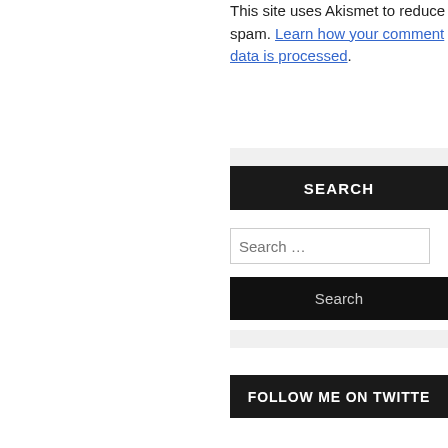This site uses Akismet to reduce spam. Learn how your comment data is processed.
SEARCH
Search …
Search
FOLLOW ME ON TWITTER